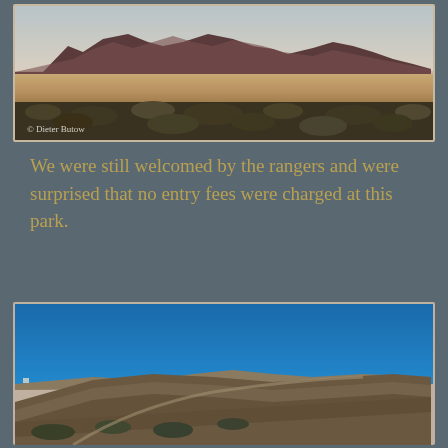[Figure (photo): Panoramic desert landscape photograph showing flat arid plains with scrubby bushes in the foreground, a wide flat terrain in the middle, and dark rugged mountain peaks in the background under a hazy sky. A watermark reads '© Dieter Butow'.]
We were still welcomed by the rangers and were surprised that no entry fees were charged at this park.
[Figure (photo): Landscape photograph showing a clear vivid blue sky occupying the upper half and rocky terrain with layered rock formations slanting upward to the right, with scrubby vegetation below and a structure visible in the far left background.]